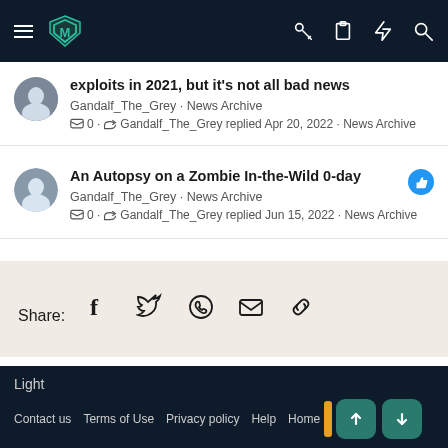MalwareTips navigation header with logo and icons
exploits in 2021, but it's not all bad news
Gandalf_The_Grey · News Archive
0 · Gandalf_The_Grey replied Apr 20, 2022 · News Archive
An Autopsy on a Zombie In-the-Wild 0-day
Gandalf_The_Grey · News Archive
0 · Gandalf_The_Grey replied Jun 15, 2022 · News Archive
Share:
Light
Contact us  Terms of Use  Privacy policy  Help  Home